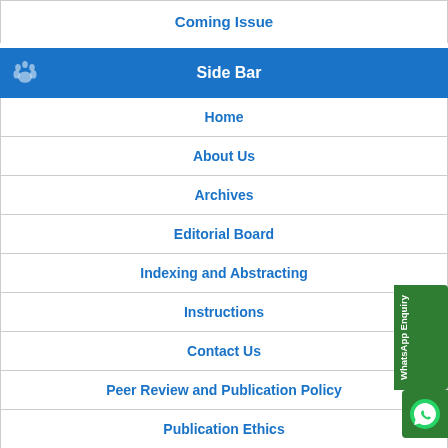Coming Issue
Side Bar
Home
About Us
Archives
Editorial Board
Indexing and Abstracting
Instructions
Contact Us
Peer Review and Publication Policy
Publication Ethics
Copyright Form
Download Copyright Form
Identifier